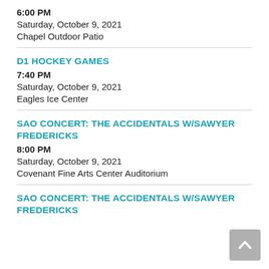6:00 PM
Saturday, October 9, 2021
Chapel Outdoor Patio
D1 HOCKEY GAMES
7:40 PM
Saturday, October 9, 2021
Eagles Ice Center
SAO CONCERT: THE ACCIDENTALS W/SAWYER FREDERICKS
8:00 PM
Saturday, October 9, 2021
Covenant Fine Arts Center Auditorium
SAO CONCERT: THE ACCIDENTALS W/SAWYER FREDERICKS